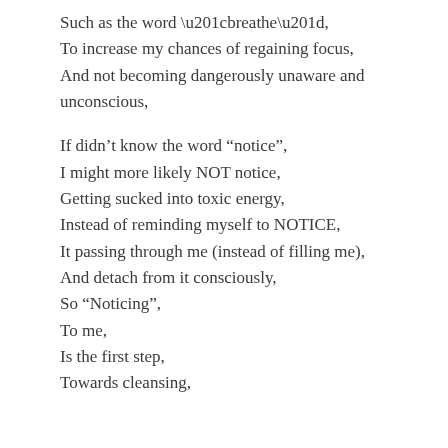Such as the word “breathe”,
To increase my chances of regaining focus,
And not becoming dangerously unaware and unconscious,
If didn’t know the word “notice”,
I might more likely NOT notice,
Getting sucked into toxic energy,
Instead of reminding myself to NOTICE,
It passing through me (instead of filling me),
And detach from it consciously,
So “Noticing”,
To me,
Is the first step,
Towards cleansing,